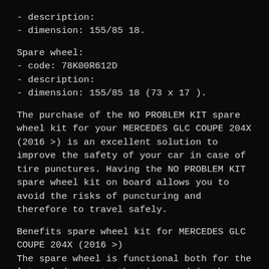- description:
- dimension: 155/85 18.
Spare wheel:
- code: 78K00R612D
- description:
- dimension: 155/85 18 (73 x 17 ).
The purchase of the NO PROBLEM KIT spare wheel kit for your MERCEDES GLC COUPE 204X (2016 >) is an excellent solution to improve the safety of your car in case of tire punctures. Having the NO PROBLEM KIT spare wheel kit on board allows you to avoid the risks of puncturing and therefore to travel safely.
Benefits spare wheel kit for MERCEDES GLC COUPE 204X (2016 >)
The spare wheel is functional both for the lateral damage to the tire, and in the case of large-size punctures, as the damaged tire is replaced with a